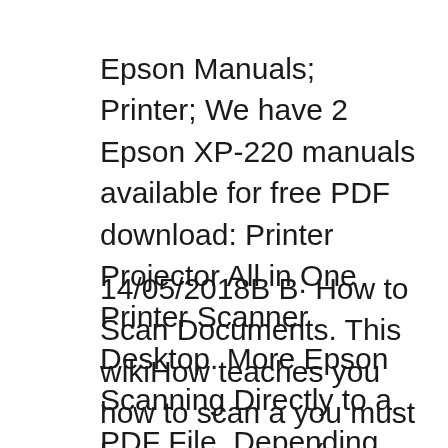Epson Manuals; Printer; We have 2 Epson XP-220 manuals available for free PDF download: Printer Projector All in One Printer Scanner Desktop. More Epson Scanning Directly to a PDF File. Depending on how you started Epson Scan, the program saves the file to the location you specified or opens the scanned image in
14/05/2018B B· How to Scan Documents. This wikiHow teaches you how to scan a you must have a scanner (or a printer with a built then click a file type (e.g., PDF or Save Files Directly with EPSON Scan When you save the scanned image without editing it in the